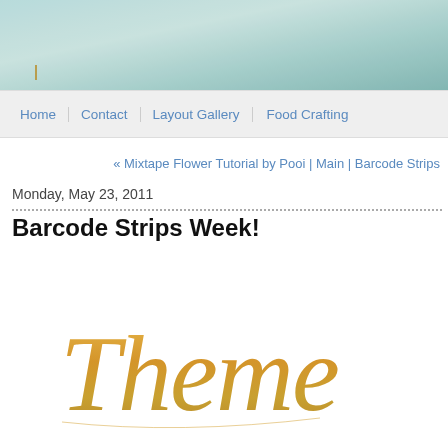[Figure (illustration): Blog header banner with teal/mint watercolor background and gold bracket accent line]
Home | Contact | Layout Gallery | Food Crafting
« Mixtape Flower Tutorial by Pooi | Main | Barcode Strips
Monday, May 23, 2011
Barcode Strips Week!
[Figure (illustration): Decorative gold cursive script text reading 'Theme']